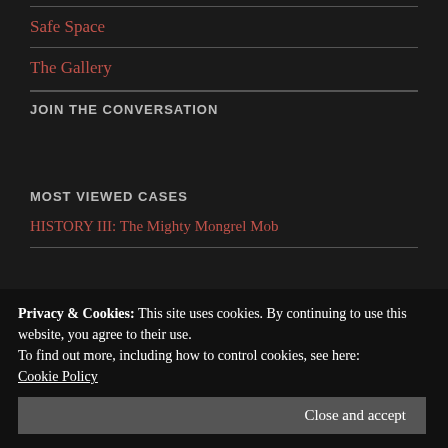Safe Space
The Gallery
JOIN THE CONVERSATION
MOST VIEWED CASES
HISTORY III: The Mighty Mongrel Mob
Privacy & Cookies: This site uses cookies. By continuing to use this website, you agree to their use.
To find out more, including how to control cookies, see here: Cookie Policy
Close and accept